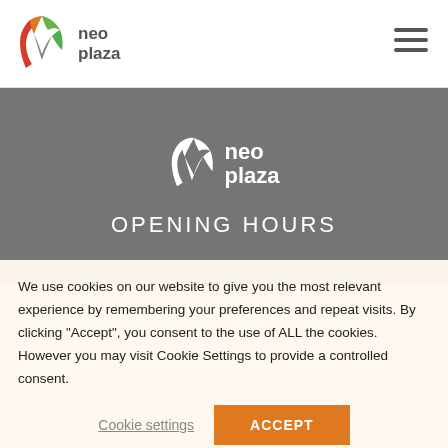[Figure (logo): Neo Plaza logo in top navigation bar, colorful N icon with green, orange, red colors and 'neo plaza' text in gray]
[Figure (logo): Neo Plaza logo in gray hero banner, white N icon with 'neo plaza' text in white]
OPENING HOURS
We use cookies on our website to give you the most relevant experience by remembering your preferences and repeat visits. By clicking “Accept”, you consent to the use of ALL the cookies. However you may visit Cookie Settings to provide a controlled consent.
Cookie settings
ACCEPT